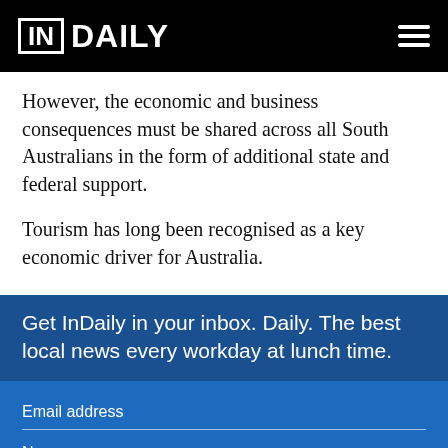InDaily
However, the economic and business consequences must be shared across all South Australians in the form of additional state and federal support.
Tourism has long been recognised as a key economic driver for Australia.
Get InDaily in your inbox. Daily. The best local news every workday at lunch time.
Email address
Name
Post code
I accept the terms & conditions